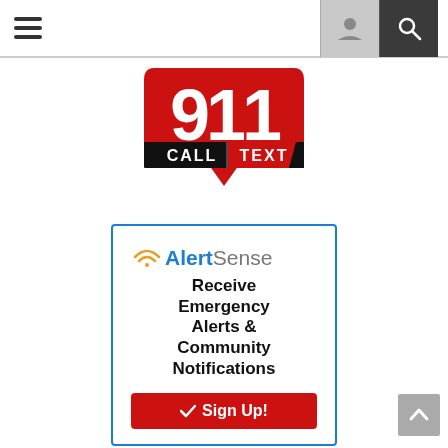[Figure (screenshot): Top navigation bar with hamburger menu on the left and person/search icons on the right]
[Figure (logo): 911 Call Text logo — red speech bubble with white '911', black bar with 'CALL' in white and 'TEXT' in white on red, tagline 'IF YOU CAN ... IF YOU CAN'T']
[Figure (infographic): AlertSense advertisement box with blue border. Shows wifi icon, AlertSense logo (Alert in blue bold, Sense in gray), text 'Receive Emergency Alerts & Community Notifications', and a red 'Sign Up!' button with checkmark.]
PUBLIC NOTIFICATION SYSTEM